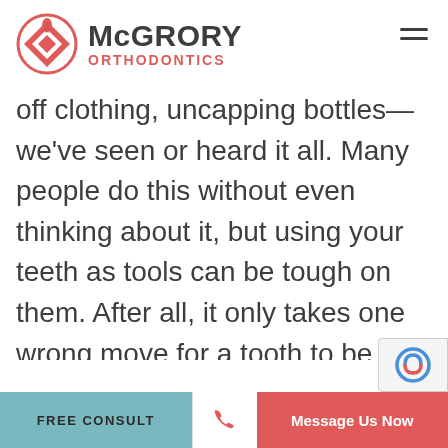[Figure (logo): McGrory Orthodontics logo with circular red diamond icon and company name]
off clothing, uncapping bottles—we've seen or heard it all. Many people do this without even thinking about it, but using your teeth as tools can be tough on them. After all, it only takes one wrong move for a tooth to be traumatized, chipped, or fractured.

With that in mind, try to stop and th
FREE CONSULT  [phone icon]  Message Us Now